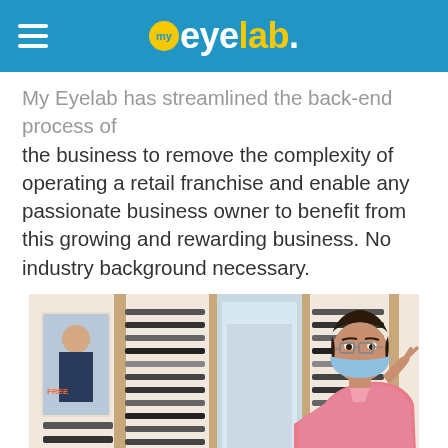my eyelab.
My Eyelab has streamlined the back-end process of the business to remove the complexity of operating a retail franchise and enable any passionate business owner to benefit from this growing and rewarding business. No industry background necessary.
[Figure (photo): A man wearing a pink shirt and blue face mask tries on eyeglasses in a My Eyelab retail store. Behind him are walls lined with many frames of eyeglasses on display. There is also a promotional poster visible on the left wall.]